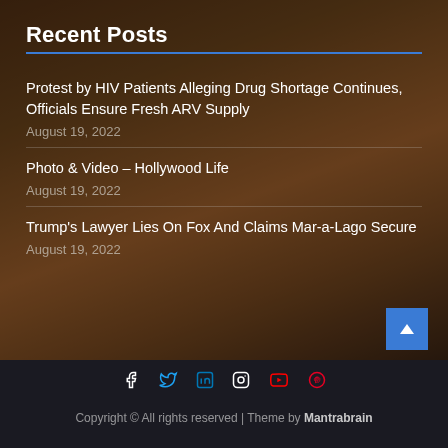Recent Posts
Protest by HIV Patients Alleging Drug Shortage Continues, Officials Ensure Fresh ARV Supply
August 19, 2022
Photo & Video – Hollywood Life
August 19, 2022
Trump's Lawyer Lies On Fox And Claims Mar-a-Lago Secure
August 19, 2022
Copyright © All rights reserved | Theme by Mantrabrain